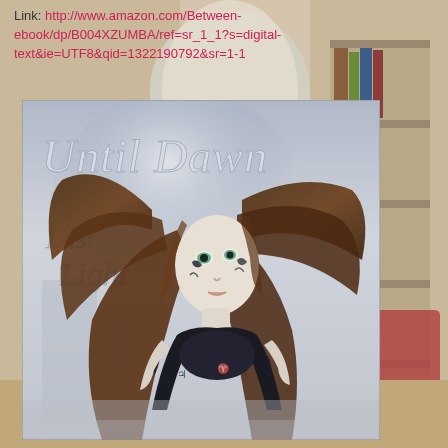Link: http://www.amazon.com/Between-ebook/dp/B004XZUMBA/ref=sr_1_1?s=digital-text&ie=UTF8&qid=1322190792&sr=1-1
[Figure (illustration): Book cover for 'Until Dawn: Last Light' showing a dark fantasy illustration of a woman with long flowing brown hair, pale skin with dark tattoo-like markings on her face and arms, wearing a black outfit. The title 'Until Dawn' appears in large silver script at the top, and 'Last Light' in silver script in the lower left. The background is a moody grey-blue misty scene.]